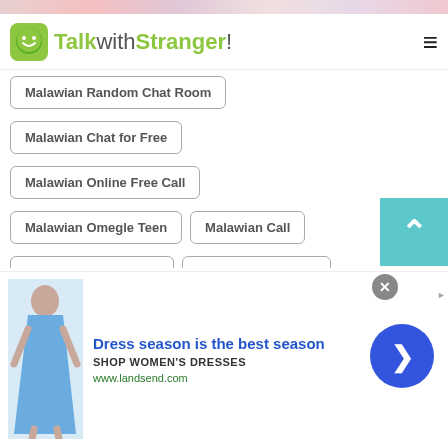[Figure (screenshot): TalkwithStranger website header with green smiley logo and hamburger menu]
Malawian Random Chat Room
Malawian Chat for Free
Malawian Online Free Call
Malawian Omegle Teen
Malawian Call
Malawian Senior Chat
Malawian Free Text
Malawian Free Text Online
Malawian Phone Chat
Malawian Omegle Kids
[Figure (photo): Advertisement banner: Dress season is the best season - SHOP WOMEN'S DRESSES - www.landsend.com with image of woman in blue dress]